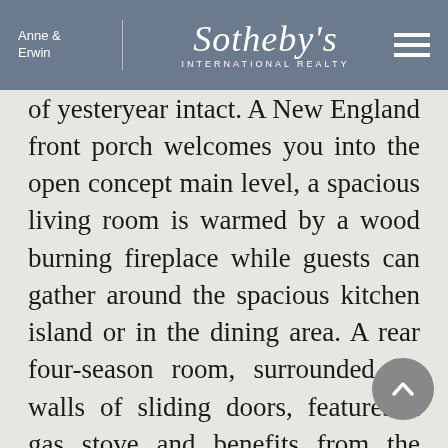Anne & Erwin | Sotheby's International Realty
renovated to include a modern aesthetic while keeping the charm of yesteryear intact. A New England front porch welcomes you into the open concept main level, a spacious living room is warmed by a wood burning fireplace while guests can gather around the spacious kitchen island or in the dining area. A rear four-season room, surrounded by walls of sliding doors, features a gas stove and benefits from the privacy of the tree-lined grounds. The second level is host to three bedrooms, one being a spacious primary suite with walk-in closet, vaulted ceilings, and full bathroom. Additional to the home, a two-story outbuilding that is currently set up as a summer bunk house with sleeping quarters on the second level. Recent upgrades are noticeable throughout the home, and the location is highly sought-after. A very short walk to York River, enjoy fishing on